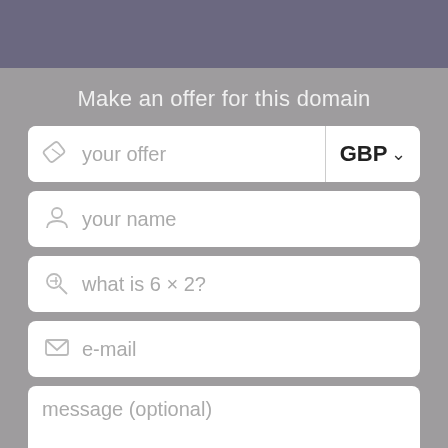Make an offer for this domain
your offer | GBP
your name
what is 6 × 2?
e-mail
message (optional)
I accept the Terms and Conditions